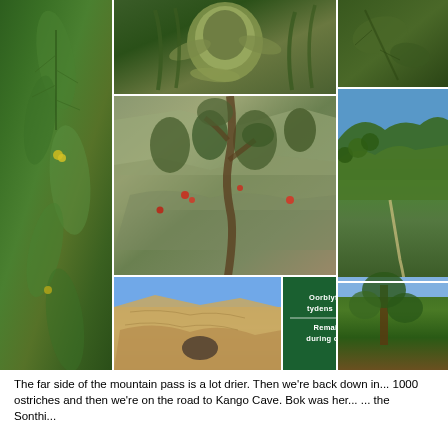[Figure (photo): Photo collage showing: tall left panel of ferns and green vegetation with yellow flowers; top center closeup of a protea flower bud with leaves; top right partial view of green leaves; middle right mountain landscape with blue sky and forested hills and road; center rocky cliff face with shrubs and red flowers; bottom center rocky sandstone cliff face under blue sky; bottom center-right green historical sign reading 'Oorblyfsels van Smidswinkel tydens konstruksie van Monta...' and 'Remains of Blacksmith's S... during construction of Montag... 1844 - 1847'; bottom right partial trees with blue sky]
The far side of the mountain pass is a lot drier. Then we're back down in... 1000 ostriches and then we're on the road to Kango Cave. Bok was her... ... the Sonthi...